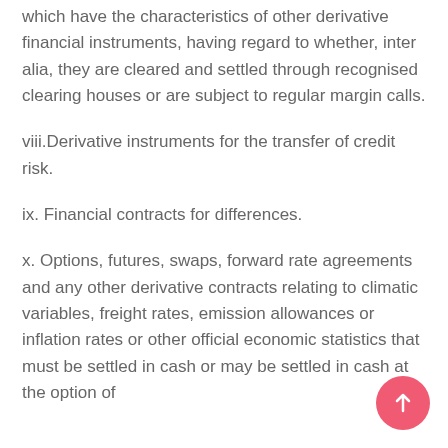which have the characteristics of other derivative financial instruments, having regard to whether, inter alia, they are cleared and settled through recognised clearing houses or are subject to regular margin calls.
viii. Derivative instruments for the transfer of credit risk.
ix. Financial contracts for differences.
x. Options, futures, swaps, forward rate agreements and any other derivative contracts relating to climatic variables, freight rates, emission allowances or inflation rates or other official economic statistics that must be settled in cash or may be settled in cash at the option of